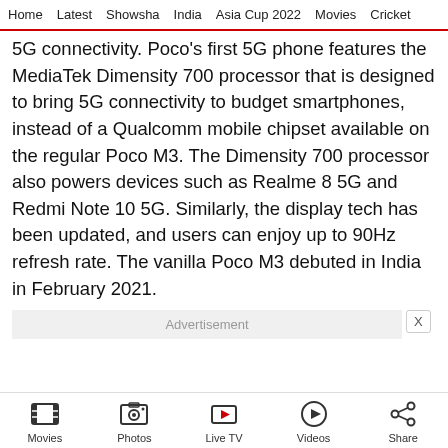Home  Latest  Showsha  India  Asia Cup 2022  Movies  Cricket
5G connectivity. Poco's first 5G phone features the MediaTek Dimensity 700 processor that is designed to bring 5G connectivity to budget smartphones, instead of a Qualcomm mobile chipset available on the regular Poco M3. The Dimensity 700 processor also powers devices such as Realme 8 5G and Redmi Note 10 5G. Similarly, the display tech has been updated, and users can enjoy up to 90Hz refresh rate. The vanilla Poco M3 debuted in India in February 2021.
Advertisement
Movies  Photos  Live TV  Videos  Share